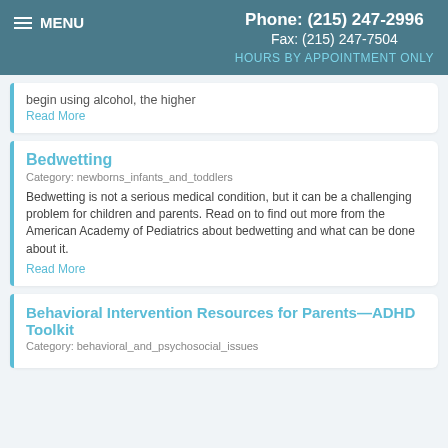MENU | Phone: (215) 247-2996 | Fax: (215) 247-7504 | HOURS BY APPOINTMENT ONLY
begin using alcohol, the higher
Read More
Bedwetting
Category: newborns_infants_and_toddlers
Bedwetting is not a serious medical condition, but it can be a challenging problem for children and parents. Read on to find out more from the American Academy of Pediatrics about bedwetting and what can be done about it.
Read More
Behavioral Intervention Resources for Parents—ADHD Toolkit
Category: behavioral_and_psychosocial_issues